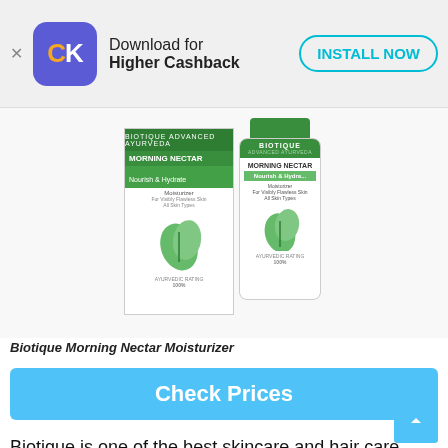[Figure (infographic): App download banner with CashKaro (CK) logo, 'Download for Higher Cashback' text, and 'INSTALL NOW' button]
[Figure (photo): Biotique Morning Nectar Moisturizer product image showing box and bottle]
Biotique Morning Nectar Moisturizer
Check Prices
Biotique is one of the best skincare and hair care brands in India, mainly because it makes effective ayurvedic products accessible in an affordable range. The brand was founded in 1992 by Vinita Jain and has its head office in Noida.